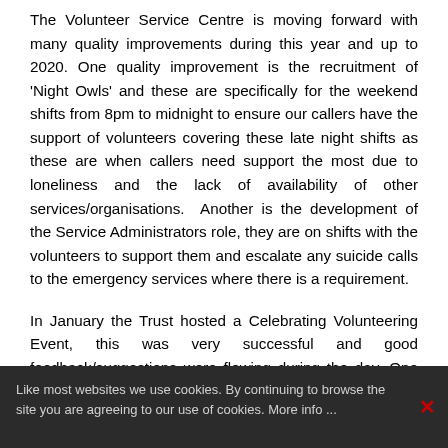The Volunteer Service Centre is moving forward with many quality improvements during this year and up to 2020. One quality improvement is the recruitment of 'Night Owls' and these are specifically for the weekend shifts from 8pm to midnight to ensure our callers have the support of volunteers covering these late night shifts as these are when callers need support the most due to loneliness and the lack of availability of other services/organisations.  Another is the development of the Service Administrators role, they are on shifts with the volunteers to support them and escalate any suicide calls to the emergency services where there is a requirement.
In January the Trust hosted a Celebrating Volunteering Event, this was very successful and good feedback/suggestions were flowing during the day. One was that the volunteers wanted
Like most websites we use cookies. By continuing to browse the site you are agreeing to our use of cookies. More info ...